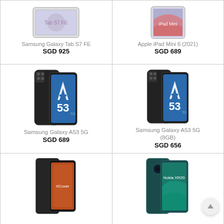[Figure (photo): Samsung Galaxy Tab S7 FE tablet product image]
Samsung Galaxy Tab S7 FE
SGD 925
[Figure (photo): Apple iPad Mini 6 (2021) tablet product image]
Apple iPad Mini 6 (2021)
SGD 689
[Figure (photo): Samsung Galaxy A53 5G smartphone product image]
Samsung Galaxy A53 5G
SGD 689
[Figure (photo): Samsung Galaxy A53 5G (8GB) smartphone product image]
Samsung Galaxy A53 5G (8GB)
SGD 656
[Figure (photo): Samsung Galaxy XCover Pro smartphone product image]
[Figure (photo): Nokia XR20 smartphone product image]